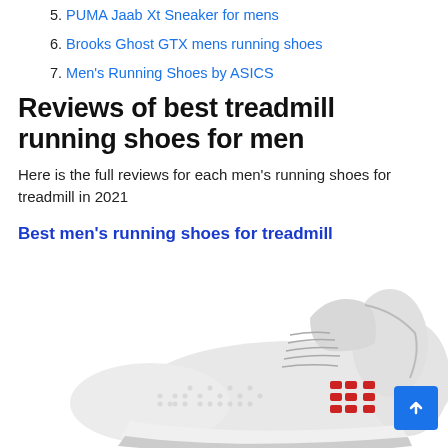5. PUMA Jaab Xt Sneaker for mens
6. Brooks Ghost GTX mens running shoes
7. Men's Running Shoes by ASICS
Reviews of best treadmill running shoes for men
Here is the full reviews for each men's running shoes for treadmill in 2021
Best men's running shoes for treadmill
[Figure (photo): White running shoe (treadmill shoe) with red dot accents, shown on white background, partially cropped at bottom of page]